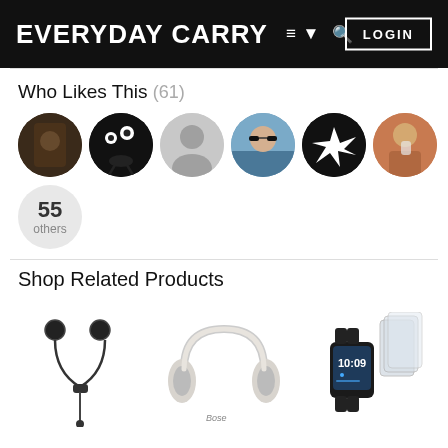EVERYDAY CARRY  ≡ ▾  🔍  LOGIN
Who Likes This (61)
[Figure (photo): Six circular user avatar photos/icons in a row, plus a '55 others' circle below]
Shop Related Products
[Figure (photo): Three product images: wireless earbuds, over-ear headphones, smartwatch with screen protectors]